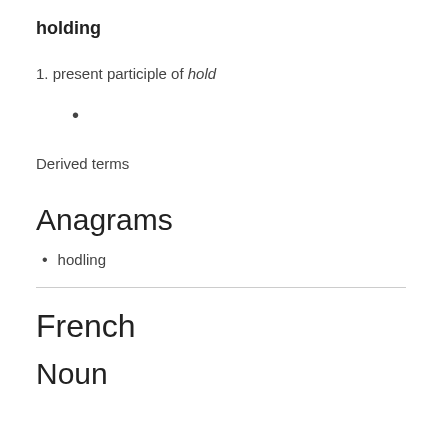holding
1. present participle of hold
•
Derived terms
Anagrams
hodling
French
Noun